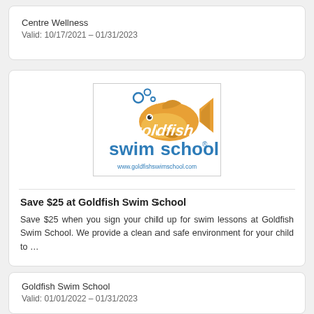Centre Wellness
Valid: 10/17/2021 - 01/31/2023
[Figure (logo): Goldfish Swim School logo with orange goldfish, bubbles, and text 'swim school' and 'www.goldfishswimschool.com']
Save $25 at Goldfish Swim School
Save $25 when you sign your child up for swim lessons at Goldfish Swim School. We provide a clean and safe environment for your child to …
Goldfish Swim School
Valid: 01/01/2022 - 01/31/2023